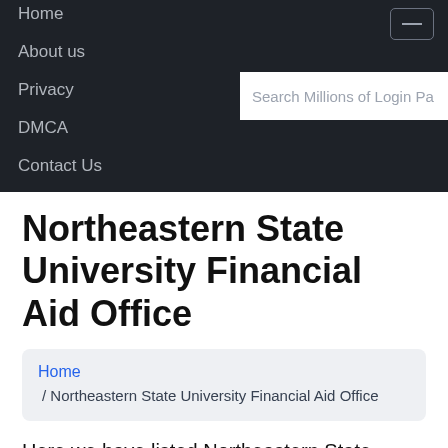Home
About us
Privacy
DMCA
Contact Us
Northeastern State University Financial Aid Office
Home / Northeastern State University Financial Aid Office
Here we have listed Northeastern State